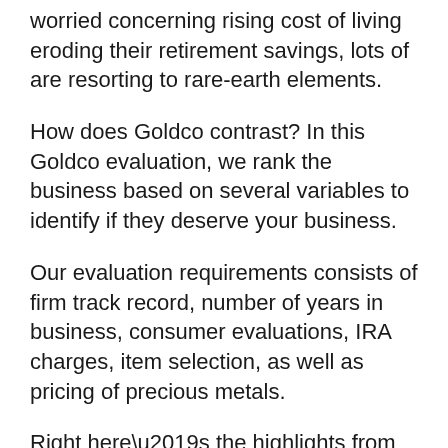worried concerning rising cost of living eroding their retirement savings, lots of are resorting to rare-earth elements.
How does Goldco contrast? In this Goldco evaluation, we rank the business based on several variables to identify if they deserve your business.
Our evaluation requirements consists of firm track record, number of years in business, consumer evaluations, IRA charges, item selection, as well as pricing of precious metals.
Right here’s the highlights from our Goldco testimonial: